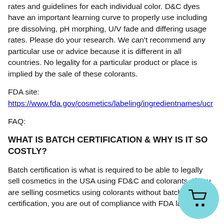rates and guidelines for each individual color. D&C dyes have an important learning curve to properly use including pre dissolving, pH morphing, U/V fade and differing usage rates. Please do your research. We can't recommend any particular use or advice because it is different in all countries. No legality for a particular product or place is implied by the sale of these colorants.
FDA site: https://www.fda.gov/cosmetics/labeling/ingredientnames/ucr
FAQ:
WHAT IS BATCH CERTIFICATION & WHY IS IT SO COSTLY?
Batch certification is what is required to be able to legally sell cosmetics in the USA using FD&C and colorants. If you are selling cosmetics using colorants without batch certification, you are out of compliance with FDA law.